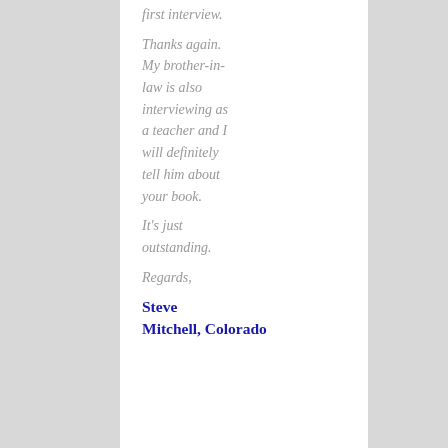first interview.
Thanks again. My brother-in-law is also interviewing as a teacher and I will definitely tell him about your book.
It's just outstanding.
Regards,
Steve Mitchell, Colorado